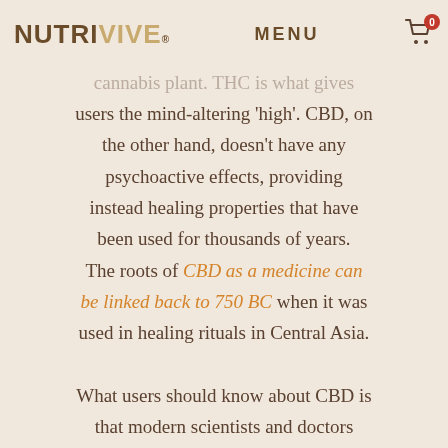NUTRIVIVE® MENU [cart: 0]
tetrahydrocannabinol (THC) was the best-known compound in the cannabis plant. THC is what gives users the mind-altering 'high'. CBD, on the other hand, doesn't have any psychoactive effects, providing instead healing properties that have been used for thousands of years. The roots of CBD as a medicine can be linked back to 750 BC when it was used in healing rituals in Central Asia.

What users should know about CBD is that modern scientists and doctors readily test it. Research repeatedly shows CBD to be a safe, non-addictive substance with a therapeutic profile with possible